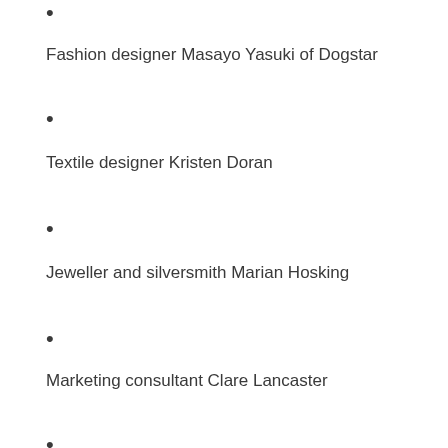Fashion designer Masayo Yasuki of Dogstar
Textile designer Kristen Doran
Jeweller and silversmith Marian Hosking
Marketing consultant Clare Lancaster
Stationery Designer Cristina Re